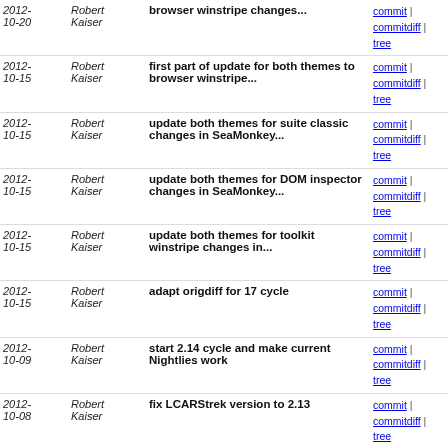| Date | Author | Message | Links |
| --- | --- | --- | --- |
| 2012-10-20 | Robert Kaiser | browser winstripe changes... | commit | commitdiff | tree |
| 2012-10-15 | Robert Kaiser | first part of update for both themes to browser winstripe... | commit | commitdiff | tree |
| 2012-10-15 | Robert Kaiser | update both themes for suite classic changes in SeaMonkey... | commit | commitdiff | tree |
| 2012-10-15 | Robert Kaiser | update both themes for DOM inspector changes in SeaMonkey... | commit | commitdiff | tree |
| 2012-10-15 | Robert Kaiser | update both themes for toolkit winstripe changes in... | commit | commitdiff | tree |
| 2012-10-15 | Robert Kaiser | adapt origdiff for 17 cycle | commit | commitdiff | tree |
| 2012-10-09 | Robert Kaiser | start 2.14 cycle and make current Nightlies work | commit | commitdiff | tree |
| 2012-10-08 | Robert Kaiser | fix LCARStrek version to 2.13 | commit | commitdiff | tree |
| 2012-10-08 | Robert Kaiser | try to make newer social and CTP stuff working | commit | commitdiff | tree |
| 2012-10-05 | Robert Kaiser | make LCARStrek not jump around when hovering over lwthemes... | commit | commitdiff | tree |
| 2012-09-30 | Robert Kaiser | forward-port temp icon for Mozilla Persona login | commit | commitdiff | tree |
| 2012-09-30 | Robert Kaiser | make arrow popups work again on Linux | commit | commitdiff | tree |
| 2012-09-16 | Robert Kaiser | Sync LCARStrek with browser winstripe changes in Firefox... | commit | commitdiff | tree |
| 2012-09-16 | Robert Kaiser | Sync LCARStrek with browser winstripe changes in Firefox... | commit | commitdiff | tree |